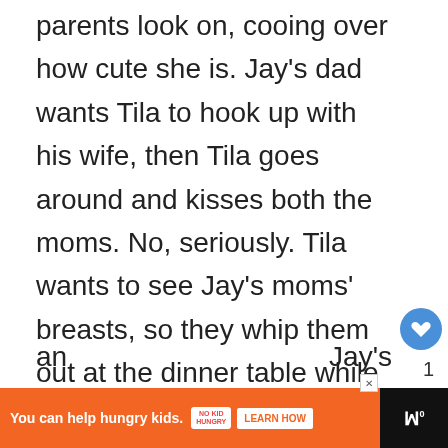parents look on, cooing over how cute she is. Jay's dad wants Tila to hook up with his wife, then Tila goes around and kisses both the moms. No, seriously. Tila wants to see Jay's moms' breasts, so they whip them out at the dinner table while Jay and his brother close their eyes. Then the two moms kiss.

As if this wasn't enough of a creepy family orgy already, Jay wants everyone to [go in the] hot tub. The whole family passes Tila around while [one] an[d Jay's]
[Figure (infographic): UI overlay elements: heart/like button (blue circle with heart icon, count '1'), share button (blue circle with share icon), 'WHAT'S NEXT' video preview overlay for 'A Shot at Love 2 with Tila...', advertisement banner at bottom reading 'You can help hungry kids.' with NO KID HUNGRY logo and LEARN HOW button]